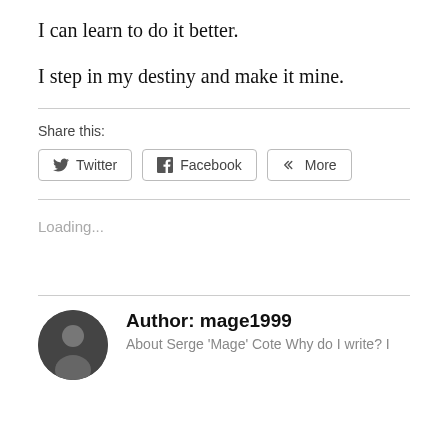I can learn to do it better.
I step in my destiny and make it mine.
Share this:
Twitter  Facebook  More
Loading...
Author: mage1999
About Serge 'Mage' Cote Why do I write? I